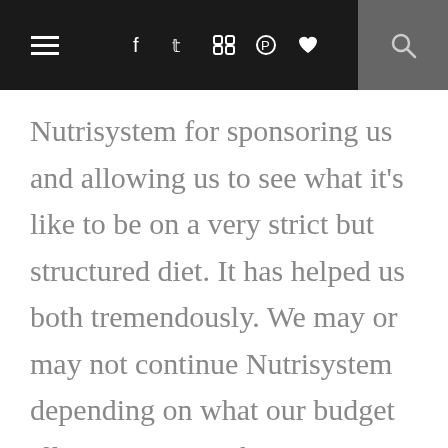≡  f  𝕥  ☷  ⊕  ♥  🔍
Nutrisystem for sponsoring us and allowing us to see what it's like to be on a very strict but structured diet. It has helped us both tremendously. We may or may not continue Nutrisystem depending on what our budget allows. Since we have just moved into a new house, we've got to get our priorities in order. We will definitely consider Nutrisystem in the future and we definitely recommend this program to anyone who wants to lose weight